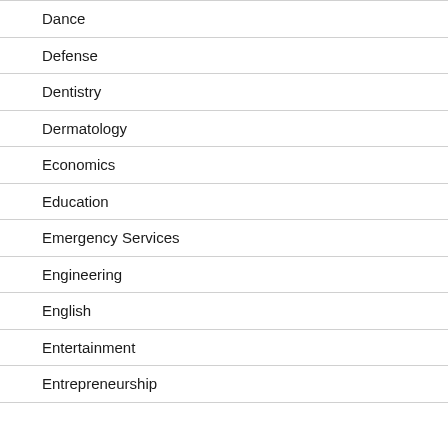Dance
Defense
Dentistry
Dermatology
Economics
Education
Emergency Services
Engineering
English
Entertainment
Entrepreneurship